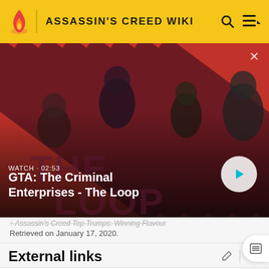ASSASSIN'S CREED WIKI
[Figure (screenshot): Video thumbnail showing GTA: The Criminal Enterprises - The Loop with four characters on a red diagonal striped background. Shows WATCH • 02:53 and a play button.]
Retrieved on January 17, 2020.
External links
Top Trumps Official website